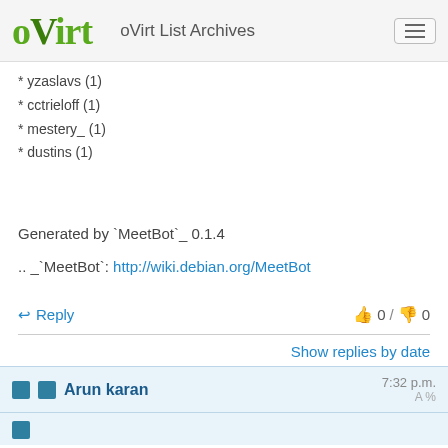oVirt  oVirt List Archives
* yzaslavs (1)
* cctrieloff (1)
* mestery_ (1)
* dustins (1)
Generated by `MeetBot`_ 0.1.4
.. _`MeetBot`: http://wiki.debian.org/MeetBot
Reply   0 / 0
Show replies by date
Arun karan   7:32 p.m.